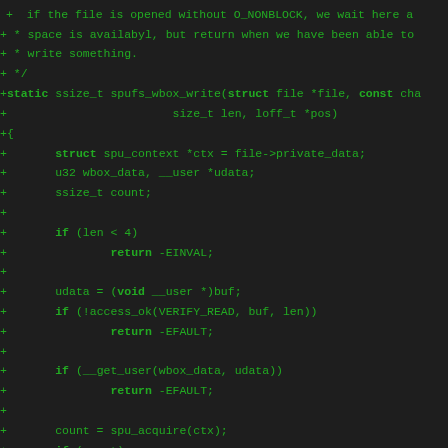+ * if the file is opened without O_NONBLOCK, we wait here un
+ * space is availabyl, but return when we have been able to
+ * write something.
+ */
+static ssize_t spufs_wbox_write(struct file *file, const cha
+                        size_t len, loff_t *pos)
+{
+       struct spu_context *ctx = file->private_data;
+       u32 wbox_data, __user *udata;
+       ssize_t count;
+
+       if (len < 4)
+               return -EINVAL;
+
+       udata = (void __user *)buf;
+       if (!access_ok(VERIFY_READ, buf, len))
+               return -EFAULT;
+
+       if (__get_user(wbox_data, udata))
+               return -EFAULT;
+
+       count = spu_acquire(ctx);
+       if (count)
+               goto out;
+
+       /*